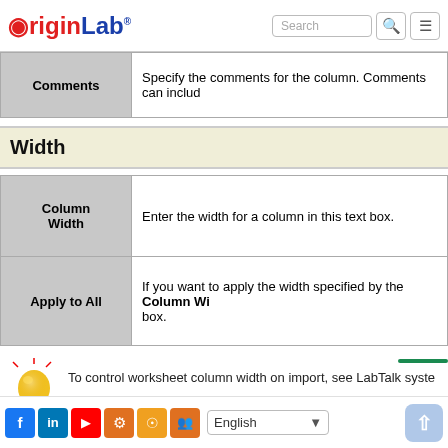OriginLab
| Comments | Description |
| --- | --- |
| Comments | Specify the comments for the column. Comments can include |
Width
| Column Width | Description | Apply to All | Description |
| --- | --- | --- | --- |
| Column Width | Enter the width for a column in this text box. |
| Apply to All | If you want to apply the width specified by the Column Wi... box. |
To control worksheet column width on import, see LabTalk syste
English